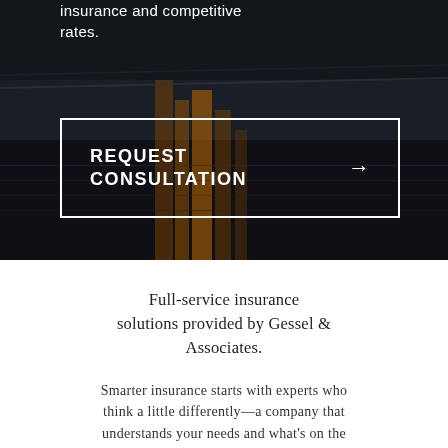[Figure (photo): Dark nighttime cityscape with reflections on water, showing a harbor or waterfront with buildings and structures]
insurance and competitive rates.
REQUEST CONSULTATION →
Full-service insurance solutions provided by Gessel & Associates.
Smarter insurance starts with experts who think a little differently—a company that understands your needs and what's on the